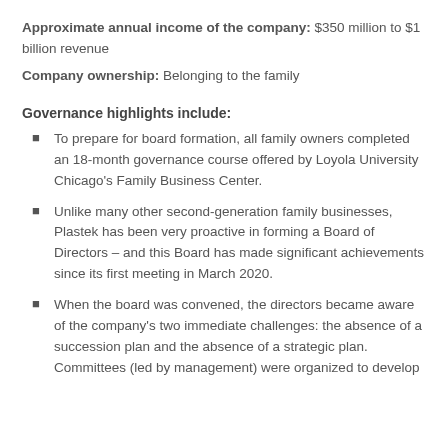Approximate annual income of the company: $350 million to $1 billion revenue
Company ownership: Belonging to the family
Governance highlights include:
To prepare for board formation, all family owners completed an 18-month governance course offered by Loyola University Chicago's Family Business Center.
Unlike many other second-generation family businesses, Plastek has been very proactive in forming a Board of Directors – and this Board has made significant achievements since its first meeting in March 2020.
When the board was convened, the directors became aware of the company's two immediate challenges: the absence of a succession plan and the absence of a strategic plan.
Committees (led by management) were organized to develop